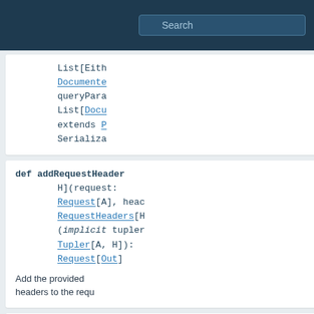Search
List[Either
Documente
queryPara
List[Docu
extends P
Serializa
def addRequestHeader
H](request:
Request[A], heac
RequestHeaders[H
(implicit tupler
Tupler[A, H]):
Request[Out]
Add the provided
headers to the requ
def addRequestQueryS
Q](request: Requ
qs: QueryString[
(implicit tupler
Tupler[A, Q]):
Request[Out]
Add the provided